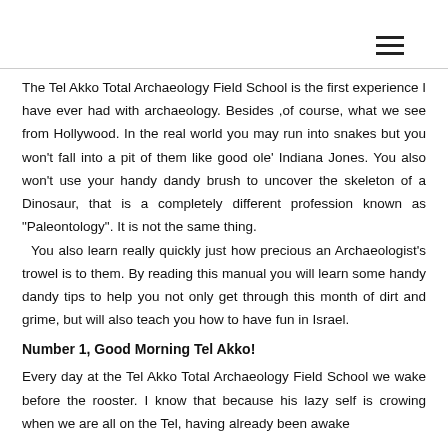The Tel Akko Total Archaeology Field School is the first experience I have ever had with archaeology. Besides ,of course, what we see from Hollywood. In the real world you may run into snakes but you won't fall into a pit of them like good ole' Indiana Jones. You also won't use your handy dandy brush to uncover the skeleton of a Dinosaur, that is a completely different profession known as "Paleontology". It is not the same thing.
  You also learn really quickly just how precious an Archaeologist's trowel is to them. By reading this manual you will learn some handy dandy tips to help you not only get through this month of dirt and grime, but will also teach you how to have fun in Israel.
Number 1, Good Morning Tel Akko!
Every day at the Tel Akko Total Archaeology Field School we wake before the rooster. I know that because his lazy self is crowing when we are all on the Tel, having already been awake